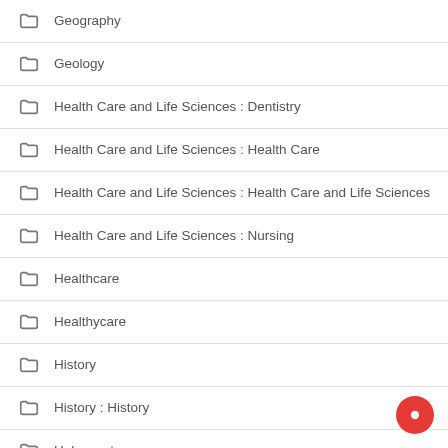Geography
Geology
Health Care and Life Sciences : Dentistry
Health Care and Life Sciences : Health Care
Health Care and Life Sciences : Health Care and Life Sciences
Health Care and Life Sciences : Nursing
Healthcare
Healthycare
History
History : History
Holocaust
Homework Assignment (Any Type)
Humanities
Humanities : ...